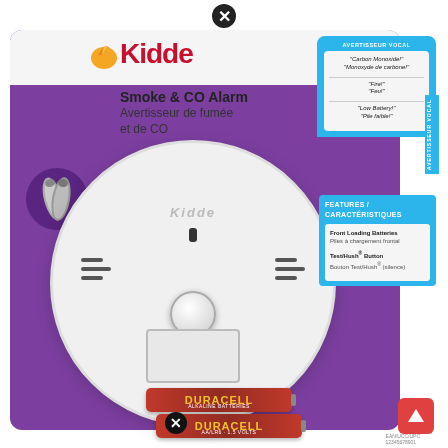[Figure (photo): Kidde Smoke & CO Alarm product packaging on purple background showing the white circular alarm device, Kidde logo, bilingual product name in English and French, voice alert features panel, features/characteristics panel, battery image inset, and two Duracell batteries at bottom.]